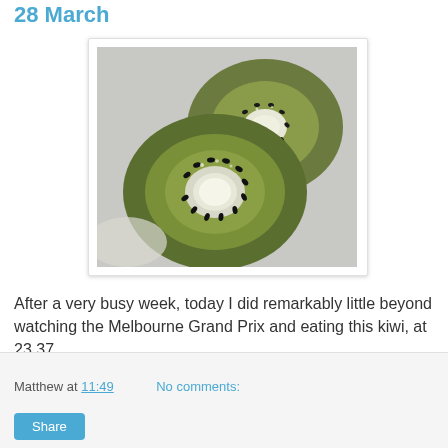28 March
[Figure (photo): Close-up photo of sliced kiwi fruit showing two cross-sections with white core, green flesh radiating outward, and black seeds arranged around the core, on a light background.]
After a very busy week, today I did remarkably little beyond watching the Melbourne Grand Prix and eating this kiwi, at 23.37.
Matthew at 11:49    No comments:   Share